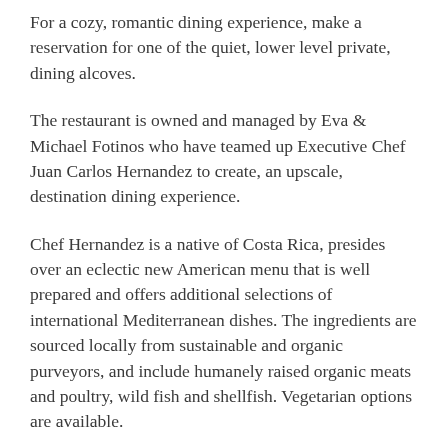For a cozy, romantic dining experience, make a reservation for one of the quiet, lower level private, dining alcoves.
The restaurant is owned and managed by Eva & Michael Fotinos who have teamed up Executive Chef Juan Carlos Hernandez to create, an upscale, destination dining experience.
Chef Hernandez is a native of Costa Rica, presides over an eclectic new American menu that is well prepared and offers additional selections of international Mediterranean dishes. The ingredients are sourced locally from sustainable and organic purveyors, and include humanely raised organic meats and poultry, wild fish and shellfish. Vegetarian options are available.